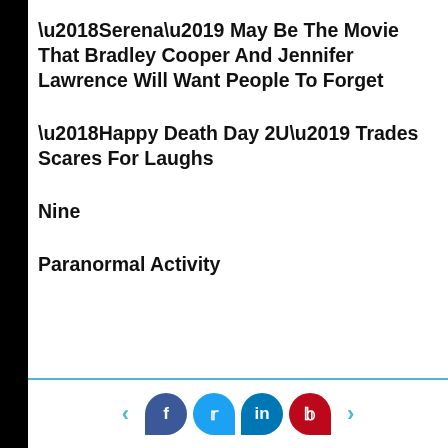‘Serena’ May Be The Movie That Bradley Cooper And Jennifer Lawrence Will Want People To Forget
‘Happy Death Day 2U’ Trades Scares For Laughs
Nine
Paranormal Activity
[Figure (other): Social media sharing bar with Facebook, Twitter, LinkedIn, Pinterest icons and navigation arrows]